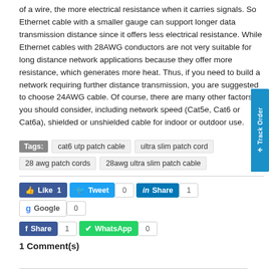of a wire, the more electrical resistance when it carries signals. So Ethernet cable with a smaller gauge can support longer data transmission distance since it offers less electrical resistance. While Ethernet cables with 28AWG conductors are not very suitable for long distance network applications because they offer more resistance, which generates more heat. Thus, if you need to build a network requiring further distance transmission, you are suggested to choose 24AWG cable. Of course, there are many other factors you should consider, including network speed (Cat5e, Cat6 or Cat6a), shielded or unshielded cable for indoor or outdoor use.
Tags: cat6 utp patch cable  ultra slim patch cord  28 awg patch cords  28awg ultra slim patch cable
Like 1  Tweet 0  Share 1  Google 0  Share 1  WhatsApp 0
1 Comment(s)